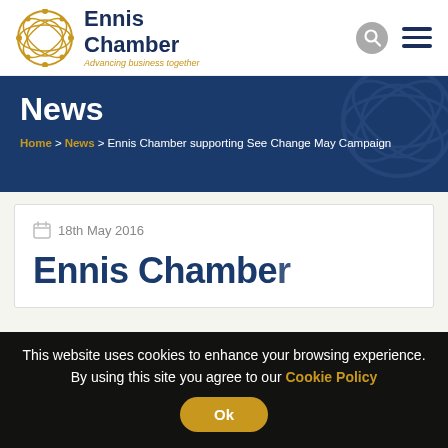Ennis Chamber – Advancing business together
News
Home > News > Ennis Chamber supporting See Change May Campaign
18th May 2016
Ennis Chambe…
This website uses cookies to enhance your browsing experience. By using this site you agree to our Cookie Policy